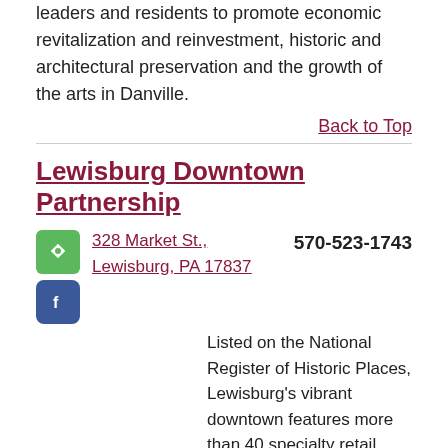leaders and residents to promote economic revitalization and reinvestment, historic and architectural preservation and the growth of the arts in Danville.
Back to Top
Lewisburg Downtown Partnership
328 Market St., Lewisburg, PA 17837  570-523-1743
[Figure (logo): Lewisburg Downtown Partnership circular logo featuring a decorative street lamp and downtown buildings with 'LEWISBURG' text arched along the top]
Listed on the National Register of Historic Places, Lewisburg's vibrant downtown features more than 40 specialty retail stores, friendly restaurants, museums, B&Bs and an authentic Art Deco movie palace showing movies nightly. Lewisburg Downtown Partnership